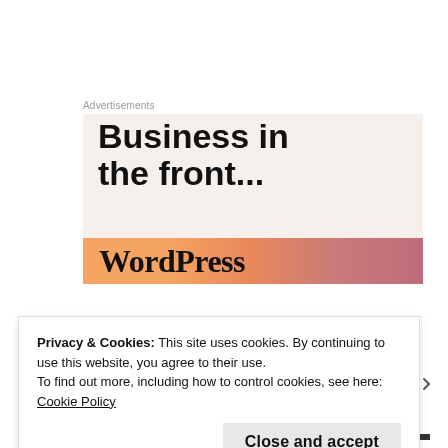Advertisements
[Figure (illustration): Advertisement banner with large bold text 'Business in the front...' on a light beige background, with an orange-to-pink gradient bar below containing bold serif text 'WordPress']
Privacy & Cookies: This site uses cookies. By continuing to use this website, you agree to their use.
To find out more, including how to control cookies, see here: Cookie Policy
Close and accept